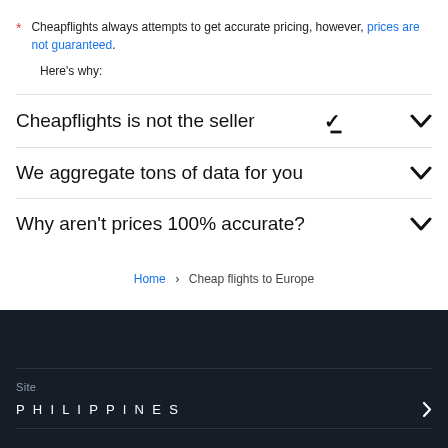* Cheapflights always attempts to get accurate pricing, however, prices are not guaranteed.
Here’s why:
Cheapflights is not the seller
We aggregate tons of data for you
Why aren’t prices 100% accurate?
Home > Cheap flights to Europe
Site
PHILIPPINES